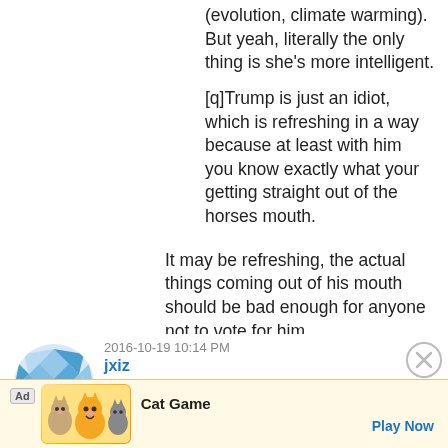(evolution, climate warming). But yeah, literally the only thing is she's more intelligent.
[q]Trump is just an idiot, which is refreshing in a way because at least with him you know exactly what your getting straight out of the horses mouth.
It may be refreshing, the actual things coming out of his mouth should be bad enough for anyone not to vote for him.
2016-10-19 10:14 PM
jxiz
> that's effectively framed as a free-speech or tolerance issue.
[Figure (other): User avatar with blue and white checkered diamond pattern]
[Figure (other): Advertisement banner for Cat Game with animal characters and Play Now button]